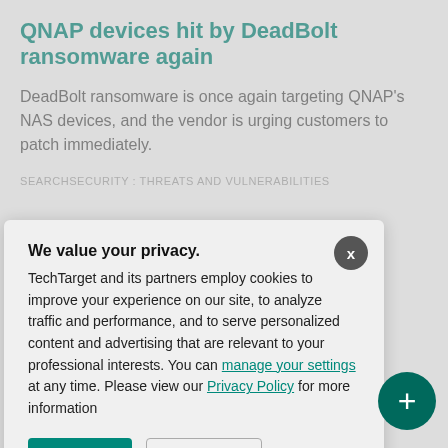QNAP devices hit by DeadBolt ransomware again
DeadBolt ransomware is once again targeting QNAP's NAS devices, and the vendor is urging customers to patch immediately.
SEARCHSECURITY : THREATS AND VULNERABILITIES
...stainability a
...h their ...investors, ...ability
We value your privacy. TechTarget and its partners employ cookies to improve your experience on our site, to analyze traffic and performance, and to serve personalized content and advertising that are relevant to your professional interests. You can manage your settings at any time. Please view our Privacy Policy for more information
[Figure (screenshot): Cookie consent modal dialog with OK and Settings buttons over a webpage about QNAP DeadBolt ransomware]